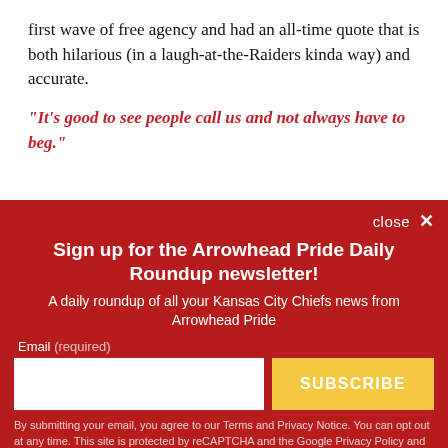first wave of free agency and had an all-time quote that is both hilarious (in a laugh-at-the-Raiders kinda way) and accurate.
"It's good to see people call us and not always have to beg."
[Figure (other): Newsletter signup overlay with red background, title 'Sign up for the Arrowhead Pride Daily Roundup newsletter!', email input field, and subscribe button.]
By submitting your email, you agree to our Terms and Privacy Notice. You can opt out at any time. This site is protected by reCAPTCHA and the Google Privacy Policy and Terms of Service apply.